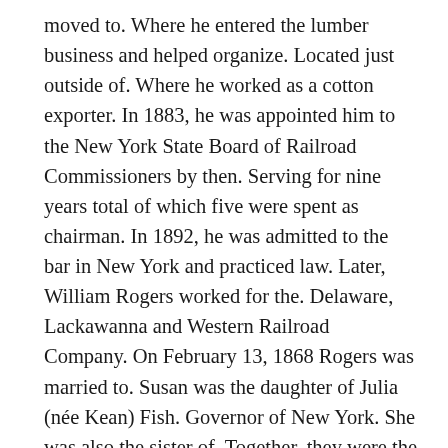moved to. Where he entered the lumber business and helped organize. Located just outside of. Where he worked as a cotton exporter. In 1883, he was appointed him to the New York State Board of Railroad Commissioners by then. Serving for nine years total of which five were spent as chairman. In 1892, he was admitted to the bar in New York and practiced law. Later, William Rogers worked for the. Delaware, Lackawanna and Western Railroad Company. On February 13, 1868 Rogers was married to. Susan was the daughter of Julia (née Kean) Fish. Governor of New York. She was also the sister of. Together, they were the parents of six children, with one son and three daughters surviving, including. Cornelia Meigs Rogers b. William Beverly Rogers b. They divorced in 1920 and she married his cousin. In 1892, Roger's wife and several members of their extended families, were included in. , purported to be an index of New York's best families.